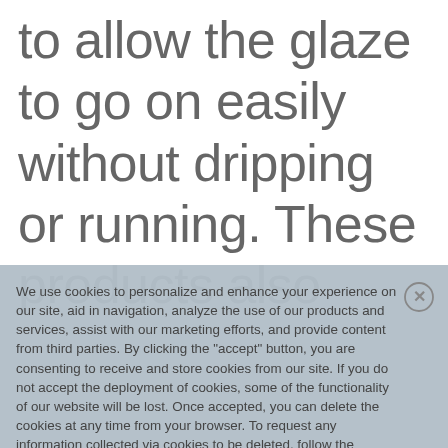to allow the glaze to go on easily without dripping or running.  These products also
We use cookies to personalize and enhance your experience on our site, aid in navigation, analyze the use of our products and services, assist with our marketing efforts, and provide content from third parties. By clicking the "accept" button, you are consenting to receive and store cookies from our site. If you do not accept the deployment of cookies, some of the functionality of our website will be lost. Once accepted, you can delete the cookies at any time from your browser. To request any information collected via cookies to be deleted, follow the instructions in our use of cookies, on our Privacy Policy.